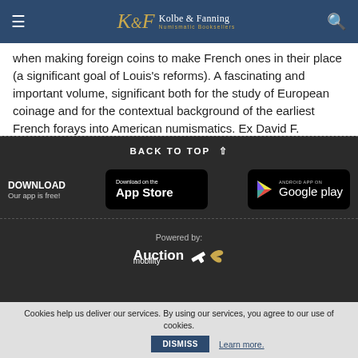Kolbe & Fanning Numismatic Booksellers
when making foreign coins to make French ones in their place (a significant goal of Louis's reforms). A fascinating and important volume, significant both for the study of European coinage and for the contextual background of the earliest French forays into American numismatics. Ex David F. Fanning Numismatic Literature, 2009.
BACK TO TOP
DOWNLOAD Our app is free!
[Figure (logo): Download on the App Store button]
[Figure (logo): Android App on Google Play button]
Powered by: Auction mobility
Cookies help us deliver our services. By using our services, you agree to our use of cookies. DISMISS Learn more.